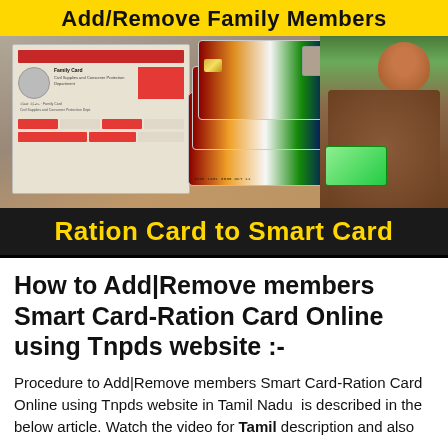[Figure (photo): Composite banner image showing Tamil Nadu ration cards and Aadhaar smart cards on the left and center, with a person holding green cards on the right. Yellow banner at top reads 'Add/Remove Family Members'. Dark banner at bottom reads 'Ration Card to Smart Card' in yellow text.]
How to Add|Remove members Smart Card-Ration Card Online using Tnpds website :-
Procedure to Add|Remove members Smart Card-Ration Card Online using Tnpds website in Tamil Nadu  is described in the below article. Watch the video for Tamil description and also